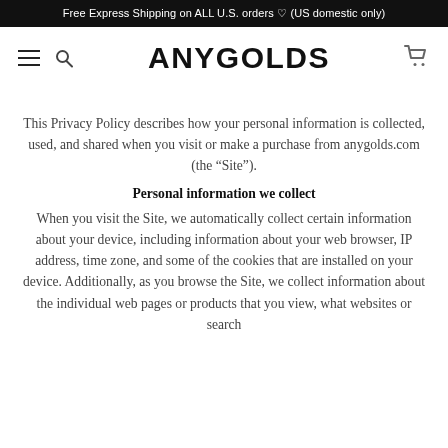Free Express Shipping on ALL U.S. orders ♡ (US domestic only)
[Figure (logo): ANYGOLDS brand logo with hamburger menu, search icon, and cart icon in navigation bar]
This Privacy Policy describes how your personal information is collected, used, and shared when you visit or make a purchase from anygolds.com (the “Site”).
Personal information we collect
When you visit the Site, we automatically collect certain information about your device, including information about your web browser, IP address, time zone, and some of the cookies that are installed on your device. Additionally, as you browse the Site, we collect information about the individual web pages or products that you view, what websites or search